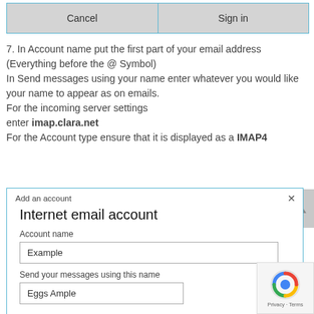[Figure (screenshot): Dialog box top showing Cancel and Sign in buttons with blue border]
7. In Account name put the first part of your email address (Everything before the @ Symbol)
In Send messages using your name enter whatever you would like your name to appear as on emails.
For the incoming server settings enter imap.clara.net
For the Account type ensure that it is displayed as a IMAP4
[Figure (screenshot): Screenshot of Internet email account dialog with Account name field showing 'Example' and Send your messages using this name field showing 'Eggs Ample']